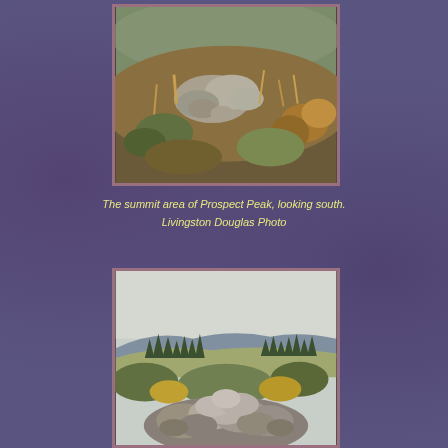[Figure (photo): Summit area of Prospect Peak, looking south. Rocky outcrop surrounded by dry grass and shrubs on a hillside.]
The summit area of Prospect Peak, looking south.
Livingston Douglas Photo
[Figure (photo): Rock cairn or pile of large stones on a mountain summit with evergreen trees and hills visible in the background under a hazy sky.]